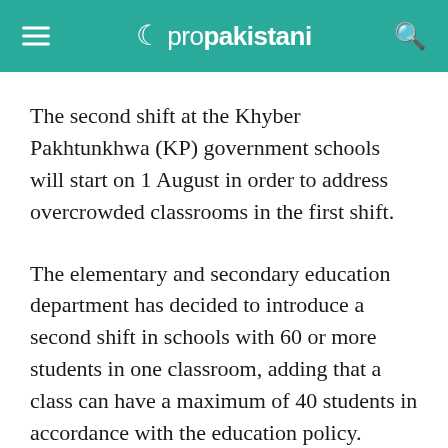≡ ☾ propakistani 🔍
The second shift at the Khyber Pakhtunkhwa (KP) government schools will start on 1 August in order to address overcrowded classrooms in the first shift.
The elementary and secondary education department has decided to introduce a second shift in schools with 60 or more students in one classroom, adding that a class can have a maximum of 40 students in accordance with the education policy.